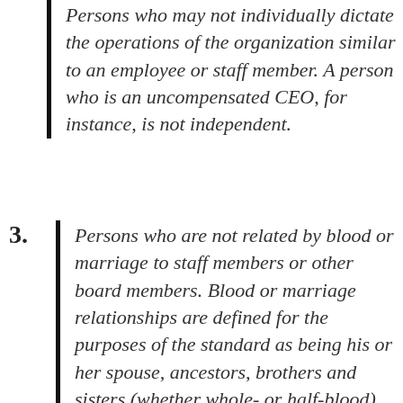Persons who may not individually dictate the operations of the organization similar to an employee or staff member. A person who is an uncompensated CEO, for instance, is not independent.
3. Persons who are not related by blood or marriage to staff members or other board members. Blood or marriage relationships are defined for the purposes of the standard as being his or her spouse, ancestors, brothers and sisters (whether whole- or half-blood), children (whether natural or adopted).